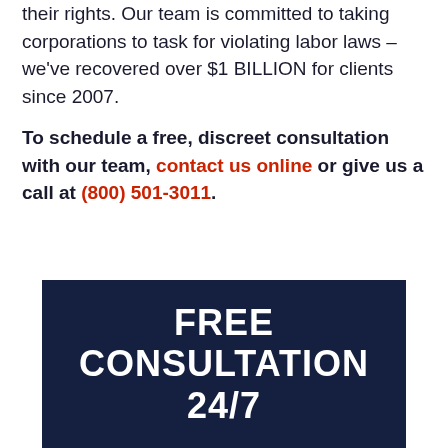their rights. Our team is committed to taking corporations to task for violating labor laws – we've recovered over $1 BILLION for clients since 2007.
To schedule a free, discreet consultation with our team, contact us online or give us a call at (800) 501-3011.
[Figure (other): Dark navy blue banner with white bold uppercase text reading FREE CONSULTATION 24/7]